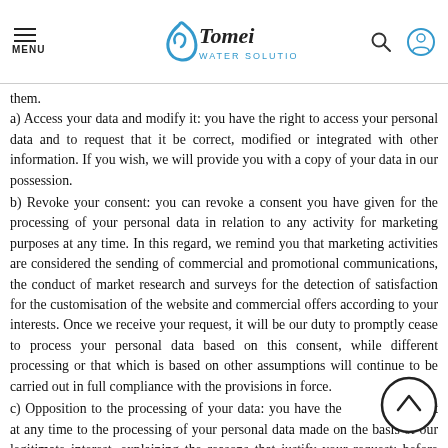MENU | Tomei Water Solutions | [search icon] [user icon]
them.
a) Access your data and modify it: you have the right to access your personal data and to request that it be correct, modified or integrated with other information. If you wish, we will provide you with a copy of your data in our possession.
b) Revoke your consent: you can revoke a consent you have given for the processing of your personal data in relation to any activity for marketing purposes at any time. In this regard, we remind you that marketing activities are considered the sending of commercial and promotional communications, the conduct of market research and surveys for the detection of satisfaction for the customisation of the website and commercial offers according to your interests. Once we receive your request, it will be our duty to promptly cease to process your personal data based on this consent, while different processing or that which is based on other assumptions will continue to be carried out in full compliance with the provisions in force.
c) Opposition to the processing of your data: you have the right to object at any time to the processing of your personal data made on the basis of our legitimate interest, explaining the reasons that justify your request; before accepting it, Tomei Water Solutions